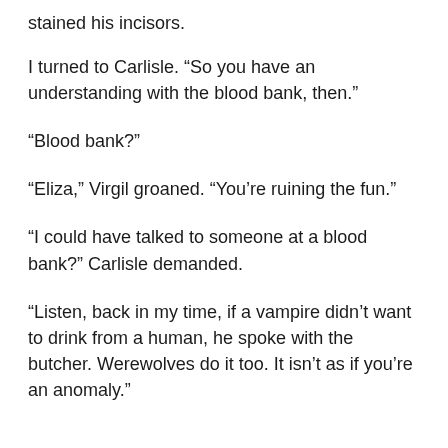stained his incisors.
I turned to Carlisle. “So you have an understanding with the blood bank, then.”
“Blood bank?”
“Eliza,” Virgil groaned. “You’re ruining the fun.”
“I could have talked to someone at a blood bank?” Carlisle demanded.
“Listen, back in my time, if a vampire didn’t want to drink from a human, he spoke with the butcher. Werewolves do it too. It isn’t as if you’re an anomaly.”